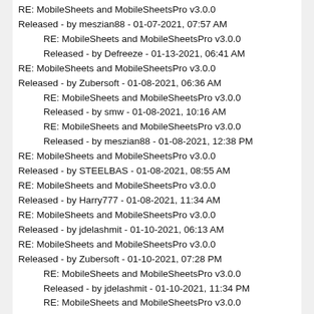RE: MobileSheets and MobileSheetsPro v3.0.0 Released - by meszian88 - 01-07-2021, 07:57 AM
RE: MobileSheets and MobileSheetsPro v3.0.0 Released - by Defreeze - 01-13-2021, 06:41 AM
RE: MobileSheets and MobileSheetsPro v3.0.0 Released - by Zubersoft - 01-08-2021, 06:36 AM
RE: MobileSheets and MobileSheetsPro v3.0.0 Released - by smw - 01-08-2021, 10:16 AM
RE: MobileSheets and MobileSheetsPro v3.0.0 Released - by meszian88 - 01-08-2021, 12:38 PM
RE: MobileSheets and MobileSheetsPro v3.0.0 Released - by STEELBAS - 01-08-2021, 08:55 AM
RE: MobileSheets and MobileSheetsPro v3.0.0 Released - by Harry777 - 01-08-2021, 11:34 AM
RE: MobileSheets and MobileSheetsPro v3.0.0 Released - by jdelashmit - 01-10-2021, 06:13 AM
RE: MobileSheets and MobileSheetsPro v3.0.0 Released - by Zubersoft - 01-10-2021, 07:28 PM
RE: MobileSheets and MobileSheetsPro v3.0.0 Released - by jdelashmit - 01-10-2021, 11:34 PM
RE: MobileSheets and MobileSheetsPro v3.0.0 Released - by daniel - 01-11-2021, 12:29 AM
RE: MobileSheets and MobileSheetsPro v3.0.0